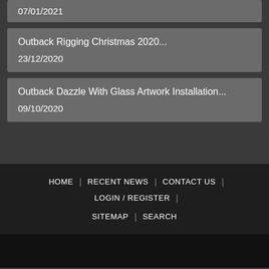07/01/2021
Outback Rigging Christmas 2020...
23/12/2020
Outback Dazzle With Glass Artwork Installation...
09/10/2020
HOME | RECENT NEWS | CONTACT US | LOGIN / REGISTER | SITEMAP | SEARCH